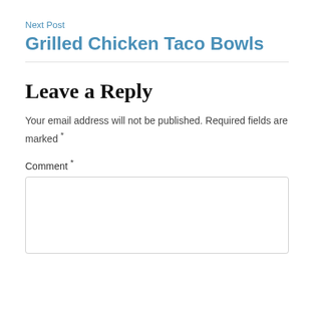Next Post
Grilled Chicken Taco Bowls
Leave a Reply
Your email address will not be published. Required fields are marked *
Comment *